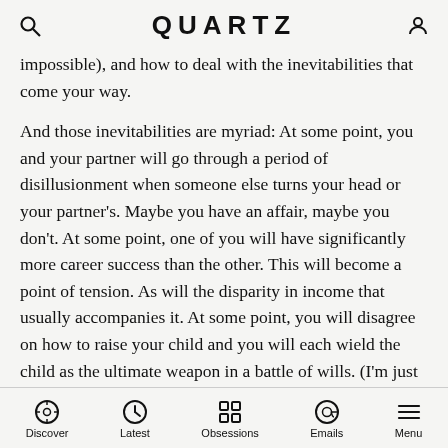QUARTZ
impossible), and how to deal with the inevitabilities that come your way.
And those inevitabilities are myriad: At some point, you and your partner will go through a period of disillusionment when someone else turns your head or your partner’s. Maybe you have an affair, maybe you don’t. At some point, one of you will have significantly more career success than the other. This will become a point of tension. As will the disparity in income that usually accompanies it. At some point, you will disagree on how to raise your child and you will each wield the child as the ultimate weapon in a battle of wills. (I’m just doing what’s best for our child!) And at some point, one of you will have a major life issue that costs you
Discover | Latest | Obsessions | Emails | Menu